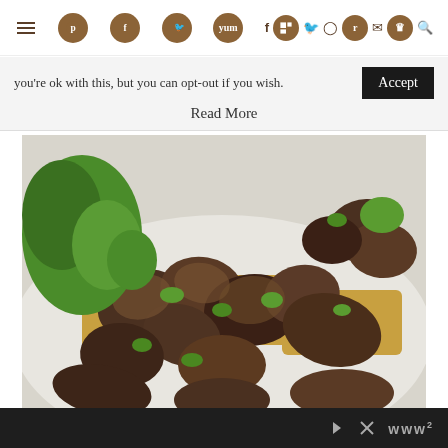Social media navigation bar with icons: Pinterest, Facebook, Twitter, Yummly, Flipboard, Reddit, Crown; plus smaller icons: f, Twitter, Instagram, Pinterest, envelope, search; and hamburger menu
you're ok with this, but you can opt-out if you wish.  Accept
Read More
[Figure (photo): Close-up photo of sautéed mushrooms on toasted polenta slices, garnished with fresh green parsley, served on a white plate]
Advertisement controls bar with forward/close icons and Mediavine logo (WWW)